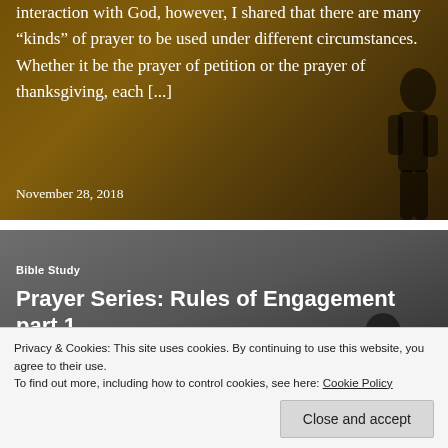[Figure (photo): Dark warm-toned background image (golden/amber hues) with a silhouette, showing text overlay about prayer and a date. Text reads: 'interaction with God, however, I shared that there are many "kinds" of prayer to be used under different circumstances. Whether it be the prayer of petition or the prayer of thanksgiving, each [...] November 28, 2018']
interaction with God, however, I shared that there are many “kinds” of prayer to be used under different circumstances.  Whether it be the prayer of petition or the prayer of thanksgiving, each [...]
November 28, 2018
[Figure (photo): Dark grey toned background image with a silhouette figure, showing text overlay: category label 'Bible Study' and title 'Prayer Series: Rules of Engagement part 1']
Bible Study
Prayer Series: Rules of Engagement part 1
Privacy & Cookies: This site uses cookies. By continuing to use this website, you agree to their use.
To find out more, including how to control cookies, see here: Cookie Policy
Close and accept